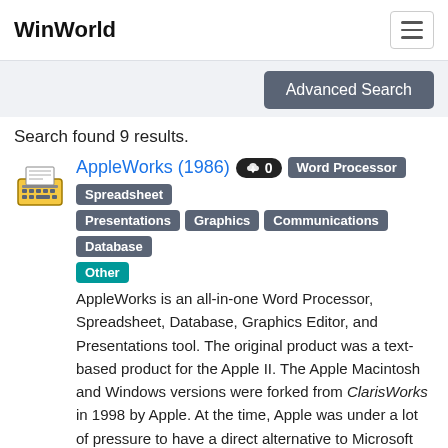WinWorld
Advanced Search
Search found 9 results.
AppleWorks (1986)  0  Word Processor  Spreadsheet  Presentations  Graphics  Communications  Database  Other
AppleWorks is an all-in-one Word Processor, Spreadsheet, Database, Graphics Editor, and Presentations tool. The original product was a text-based product for the Apple II. The Apple Macintosh and Windows versions were forked from ClarisWorks in 1998 by Apple. At the time, Apple was under a lot of pressure to have a direct alternative to Microsoft Office. There were serious concerns that Microsoft might pull Microsoft Office